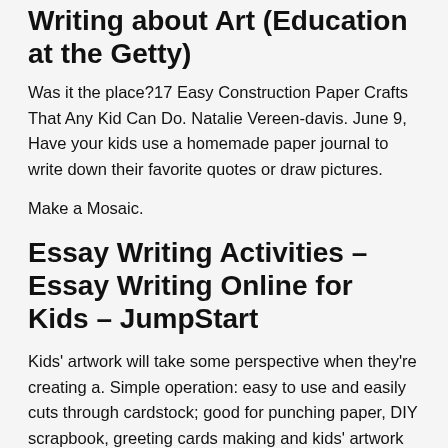Writing about Art (Education at the Getty)
Was it the place?17 Easy Construction Paper Crafts That Any Kid Can Do. Natalie Vereen-davis. June 9, Have your kids use a homemade paper journal to write down their favorite quotes or draw pictures.
Make a Mosaic.
Essay Writing Activities – Essay Writing Online for Kids – JumpStart
Kids' artwork will take some perspective when they're creating a. Simple operation: easy to use and easily cuts through cardstock; good for punching paper, DIY scrapbook, greeting cards making and kids' artwork Perfect for punching…